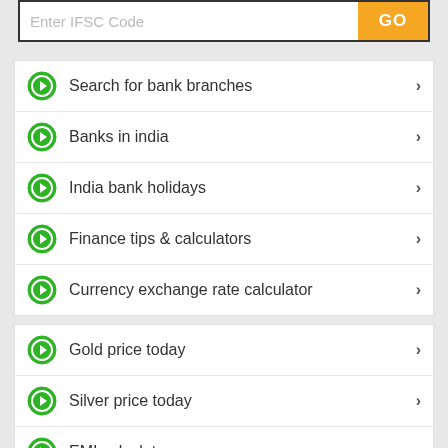Enter IFSC Code
Search for bank branches
Banks in india
India bank holidays
Finance tips & calculators
Currency exchange rate calculator
Gold price today
Silver price today
EMI calculator
Income tax calculator